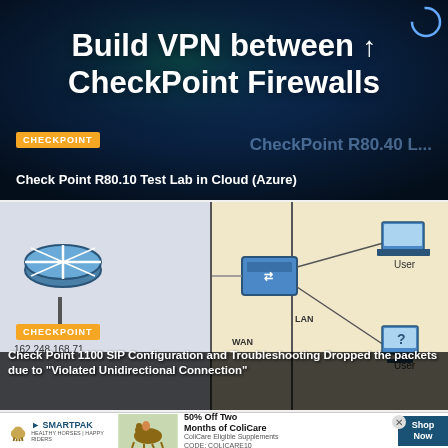[Figure (screenshot): Dark blue banner with text 'Build VPN between CheckPoint Firewalls' and an upward arrow. Orange CHECKPOINT badge and subtitle 'Check Point R80.10 Test Lab in Cloud (Azure)'.]
Check Point R80.10 Test Lab in Cloud (Azure)
[Figure (screenshot): Network diagram showing a router icon on left side with IP 162.248.168.71, a switch in center, and two User computers on the right (laptop and desktop). LAN and WAN labels visible. Orange CHECKPOINT badge.]
Check Point 1100 SIP Configuration and Troubleshooting Dropped the packets due to "Violated Unidirectional Connection"
[Figure (screenshot): Advertisement banner for SmartPak showing '50% Off Two Months of ColiCare' with CODE: COLICARE10 and a Shop Now button.]